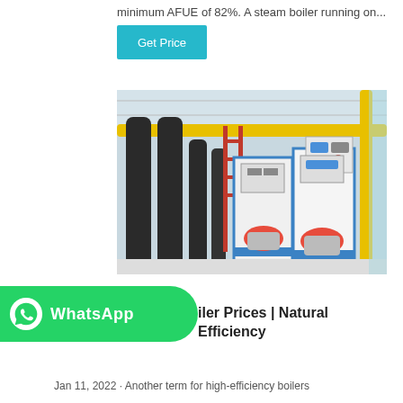minimum AFUE of 82%. A steam boiler running on...
Get Price
[Figure (photo): Industrial boiler room with two steam boilers having red burner heads, yellow gas pipes, black insulated pipes, and white/blue boiler units with control panels mounted on wall.]
[Figure (logo): WhatsApp green banner with phone icon and WhatsApp text in white]
iler Prices | Natural Efficiency
Jan 11, 2022 · Another term for high-efficiency boilers